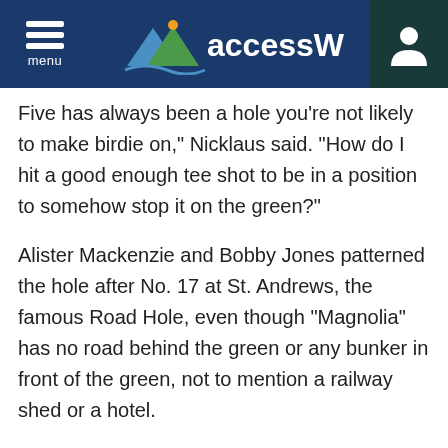menu | accessWDUN
Five has always been a hole you're not likely to make birdie on," Nicklaus said. "How do I hit a good enough tee shot to be in a position to somehow stop it on the green?"
Alister Mackenzie and Bobby Jones patterned the hole after No. 17 at St. Andrews, the famous Road Hole, even though "Magnolia" has no road behind the green or any bunker in front of the green, not to mention a railway shed or a hotel.
The principle was the same — a tee shot as close to the trouble (the bunkers on No. 5), the better